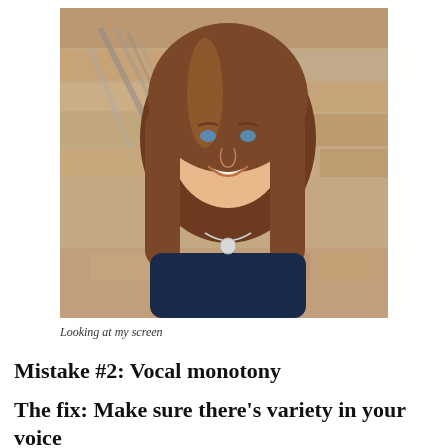[Figure (photo): Headshot of a smiling woman with long brown hair, wearing a dark navy top and a silver necklace, standing in front of a stone wall background.]
Looking at my screen
Mistake #2: Vocal monotony
The fix: Make sure there’s variety in your voice